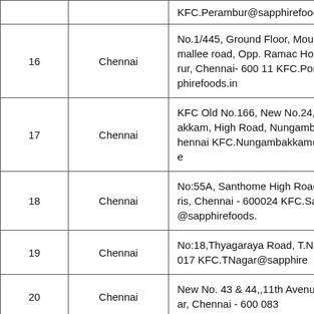| # | City | Address |
| --- | --- | --- |
|  |  | KFC.Perambur@sapphirefoods.i... |
| 16 | Chennai | No.1/445, Ground Floor, Mount Poonamallee road, Opp. Ramac Hospital, Porur, Chennai- 600 11 KFC.Porur@sapphirefoods.in |
| 17 | Chennai | KFC Old No.166, New No.24, Kodambakkam, High Road, Nungambakkam Chennai KFC.Nungambakkam@sapphire... |
| 18 | Chennai | No:55A, Santhome High Road, C Nilgiris, Chennai - 600024 KFC.Santhome@sapphirefoods.... |
| 19 | Chennai | No:18,Thyagaraya Road, T.Naga - 600017 KFC.TNagar@sapphire... |
| 20 | Chennai | New No. 43 & 44,,11th Avenue, A Nagar, Chennai - 600 083 |